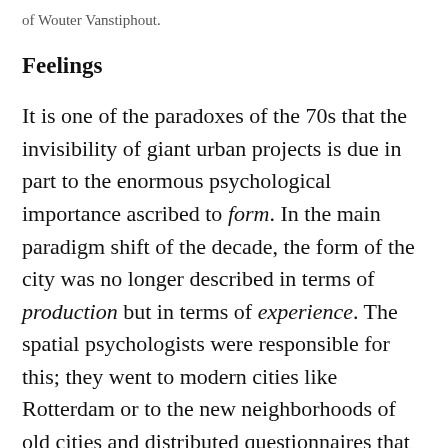of Wouter Vanstiphout.
Feelings
It is one of the paradoxes of the 70s that the invisibility of giant urban projects is due in part to the enormous psychological importance ascribed to form. In the main paradigm shift of the decade, the form of the city was no longer described in terms of production but in terms of experience. The spatial psychologists were responsible for this; they went to modern cities like Rotterdam or to the new neighborhoods of old cities and distributed questionnaires that asked people about how certain streets, buildings, or squares made them feel. A whole science developed that described city form in terms